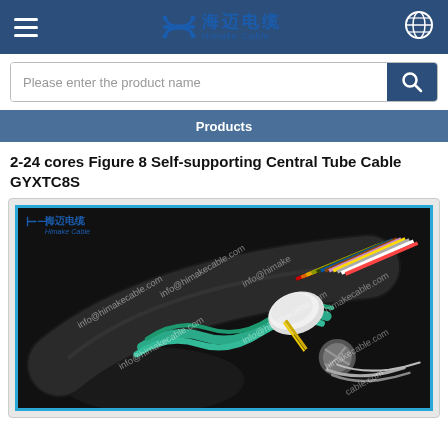[Figure (logo): Himake Cable company logo with Chinese characters 海迈电缆 and stylized H icon, shown in header navigation bar with hamburger menu and globe icon]
Please enter the product name
Products
2-24 cores Figure 8 Self-supporting Central Tube Cable GYXTC8S
[Figure (photo): Product photo of GYXTC8S Figure 8 Self-supporting Central Tube fiber optic cable, showing cross-section with black outer jacket, steel wire messenger, teal/green armoring, white inner tube, and colorful optical fiber bundle. Multiple watermarks reading info@himakecable.com overlaid diagonally. Himake Cable logo in top-left corner of image.]